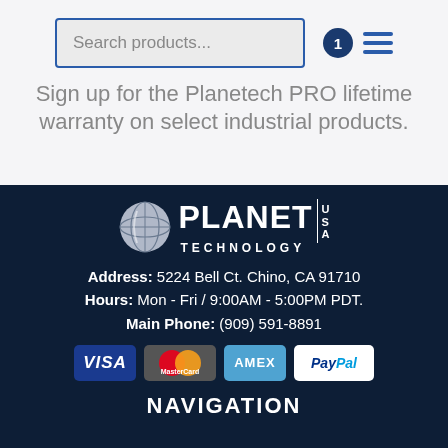[Figure (screenshot): Search bar with blue border on grey background, with cart badge showing '1' and hamburger menu icon]
Sign up for the Planetech PRO lifetime warranty on select industrial products.
[Figure (logo): Planet Technology USA logo with globe icon, white text on dark navy background]
Address: 5224 Bell Ct. Chino, CA 91710
Hours: Mon - Fri / 9:00AM - 5:00PM PDT.
Main Phone: (909) 591-8891
[Figure (infographic): Payment method icons: VISA, MasterCard, AMEX, PayPal]
NAVIGATION